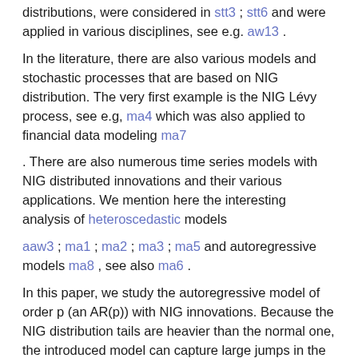distributions, were considered in stt3 ; stt6 and were applied in various disciplines, see e.g. aw13 .
In the literature, there are also various models and stochastic processes that are based on NIG distribution. The very first example is the NIG Lévy process, see e.g, ma4 which was also applied to financial data modeling ma7
. There are also numerous time series models with NIG distributed innovations and their various applications. We mention here the interesting analysis of heteroscedastic models
aaw3 ; ma1 ; ma2 ; ma3 ; ma5 and autoregressive models ma8 , see also ma6 .
In this paper, we study the autoregressive model of order p (an AR(p)) with NIG innovations. Because the NIG distribution tails are heavier than the normal one, the introduced model can capture large jumps in the real-life time-series data which are quite ubiquitous. Moreover, by applying the autoregressive filter, the considered model can capture the possible short dependence in the data that is